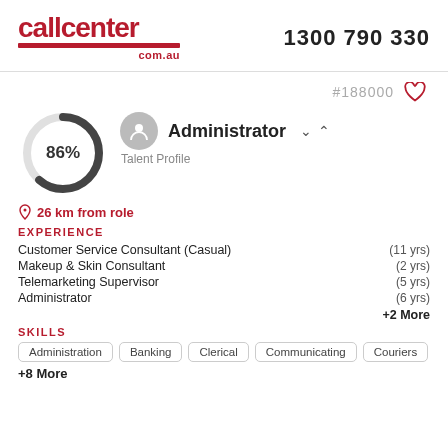[Figure (logo): callcenter.com.au logo in dark red with underline bar]
1300 790 330
#188000
[Figure (infographic): Donut chart showing 86% completion in dark grey]
Administrator
Talent Profile
26 km from role
EXPERIENCE
| Role | Duration |
| --- | --- |
| Customer Service Consultant (Casual) | (11 yrs) |
| Makeup & Skin Consultant | (2 yrs) |
| Telemarketing Supervisor | (5 yrs) |
| Administrator | (6 yrs) |
+2 More
SKILLS
Administration
Banking
Clerical
Communicating
Couriers
+8 More